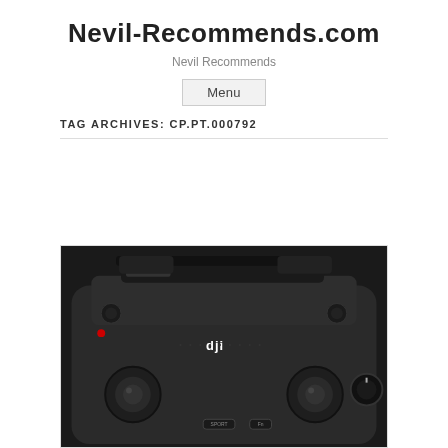Nevil-Recommends.com
Nevil Recommends
Menu
TAG ARCHIVES: CP.PT.000792
[Figure (photo): Close-up photo of a DJI drone remote controller, showing the top surface with antennas, joysticks, DJI logo, buttons including SPORT and Fn, and a dial. Black textured body.]